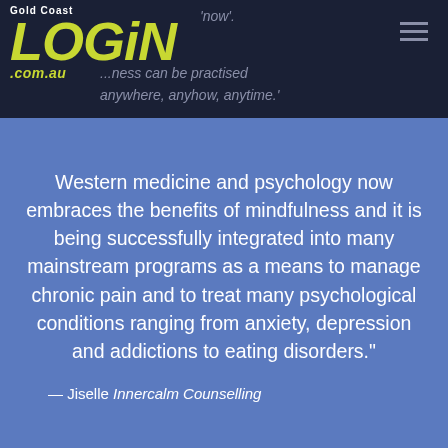[Figure (logo): Gold Coast LOGIN .com.au logo in yellow/green italic bold font on dark navy background]
'now'. ...ness can be practised anywhere, anyhow, anytime.'
Western medicine and psychology now embraces the benefits of mindfulness and it is being successfully integrated into many mainstream programs as a means to manage chronic pain and to treat many psychological conditions ranging from anxiety, depression and addictions to eating disorders."
— Jiselle Innercalm Counselling